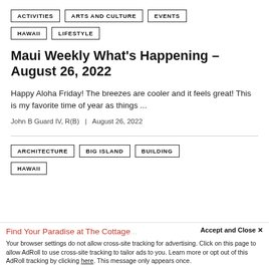ACTIVITIES
ARTS AND CULTURE
EVENTS
HAWAII
LIFESTYLE
Maui Weekly What’s Happening – August 26, 2022
Happy Aloha Friday! The breezes are cooler and it feels great! This is my favorite time of year as things ...
John B Guard IV, R(B)   |   August 26, 2022
ARCHITECTURE
BIG ISLAND
BUILDING
HAWAII
Find Your Paradise at The Cottage...
Accept and Close ×
Your browser settings do not allow cross-site tracking for advertising. Click on this page to allow AdRoll to use cross-site tracking to tailor ads to you. Learn more or opt out of this AdRoll tracking by clicking here. This message only appears once.